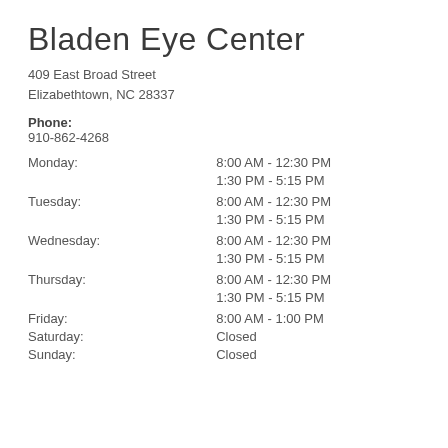Bladen Eye Center
409 East Broad Street
Elizabethtown, NC 28337
Phone:
910-862-4268
| Day | Hours |
| --- | --- |
| Monday: | 8:00 AM - 12:30 PM |
|  | 1:30 PM - 5:15 PM |
| Tuesday: | 8:00 AM - 12:30 PM |
|  | 1:30 PM - 5:15 PM |
| Wednesday: | 8:00 AM - 12:30 PM |
|  | 1:30 PM - 5:15 PM |
| Thursday: | 8:00 AM - 12:30 PM |
|  | 1:30 PM - 5:15 PM |
| Friday: | 8:00 AM - 1:00 PM |
| Saturday: | Closed |
| Sunday: | Closed |